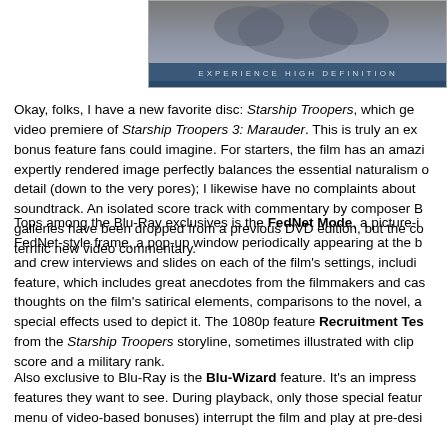[Figure (photo): Top portion of a Blu-ray disc case for Starship Troopers showing 'EXPERIENCE HIGH DEFINITION' text on a blue banner]
Okay, folks, I have a new favorite disc: Starship Troopers, which ge video premiere of Starship Troopers 3: Marauder. This is truly an ex bonus feature fans could imagine. For starters, the film has an amazi expertly rendered image perfectly balances the essential naturalism o detail (down to the very pores); I likewise have no complaints about soundtrack. An isolated score track with commentary by composer B galleries have been dropped from a previous DVD edition, but the co terrific new video commentary.
Tops among the Blu-Ray exclusives is the FedNet Mode, a picture-i FedNet-style frame, a pop-up window periodically appearing at the b and crew interviews and slides on each of the film's settings, includi feature, which includes great anecdotes from the filmmakers and cas thoughts on the film's satirical elements, comparisons to the novel, a special effects used to depict it. The 1080p feature Recruitment Tes from the Starship Troopers storyline, sometimes illustrated with clip score and a military rank.
Also exclusive to Blu-Ray is the Blu-Wizard feature. It's an impress features they want to see. During playback, only those special featur menu of video-based bonuses) interrupt the film and play at pre-desi